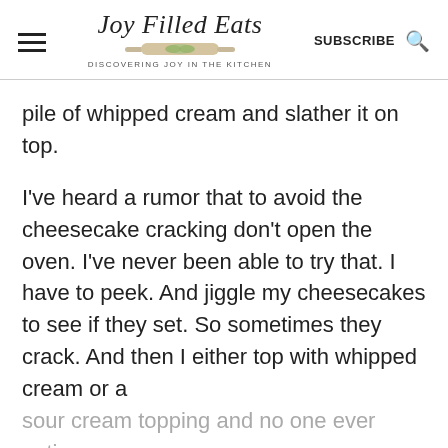Joy Filled Eats — DISCOVERING JOY IN THE KITCHEN — SUBSCRIBE
pile of whipped cream and slather it on top.
I've heard a rumor that to avoid the cheesecake cracking don't open the oven. I've never been able to try that. I have to peek. And jiggle my cheesecakes to see if they set. So sometimes they crack. And then I either top with whipped cream or a
sour cream topping and no one ever notices.